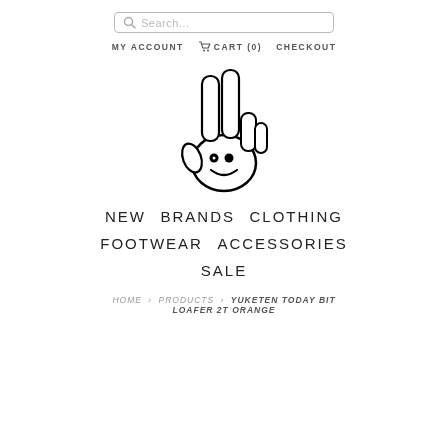Search...
MY ACCOUNT   CART (0)   CHECKOUT
[Figure (illustration): Peace sign hand gesture with a smiley face drawn on the palm. Two fingers raised forming a V/peace sign, cartoonish black and white illustration.]
NEW   BRANDS   CLOTHING   FOOTWEAR   ACCESSORIES   SALE
HOME > PRODUCTS > YUKETEN TODAY BIT LOAFER 2T ORANGE